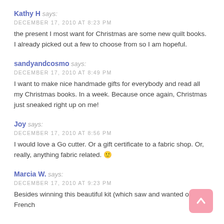Kathy H says:
DECEMBER 17, 2010 AT 8:23 PM
the present I most want for Christmas are some new quilt books. I already picked out a few to choose from so I am hopeful.
sandyandcosmo says:
DECEMBER 17, 2010 AT 8:49 PM
I want to make nice handmade gifts for everybody and read all my Christmas books. In a week. Because once again, Christmas just sneaked right up on me!
Joy says:
DECEMBER 17, 2010 AT 8:56 PM
I would love a Go cutter. Or a gift certificate to a fabric shop. Or, really, anything fabric related. 🙂
Marcia W. says:
DECEMBER 17, 2010 AT 9:23 PM
Besides winning this beautiful kit (which saw and wanted on the French General site), I would love PC (which falls every year on the French